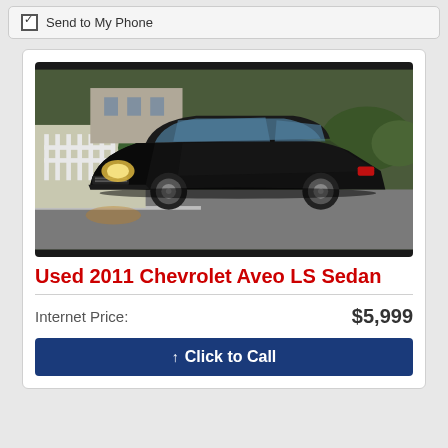Send to My Phone
[Figure (photo): Photo of a black 2011 Chevrolet Aveo LS Sedan parked in a lot, taken from a front three-quarter angle. A white picket fence and green shrubs are visible in the background.]
Used 2011 Chevrolet Aveo LS Sedan
Internet Price: $5,999
Click to Call